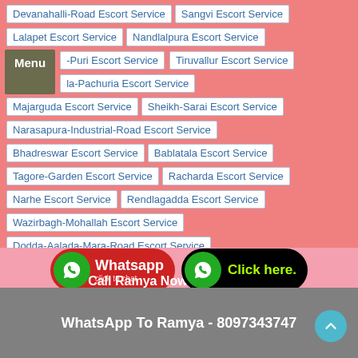Devanahalli-Road Escort Service
Sangvi Escort Service
Lalapet Escort Service
Nandlalpura Escort Service
-Puri Escort Service
Tiruvallur Escort Service
la-Pachuria Escort Service
Majarguda Escort Service
Sheikh-Sarai Escort Service
Narasapura-Industrial-Road Escort Service
Bhadreswar Escort Service
Bablatala Escort Service
Tagore-Garden Escort Service
Racharda Escort Service
Narhe Escort Service
Rendlagadda Escort Service
Wazirbagh-Mohallah Escort Service
Dodda-Aalada-Mara-Road Escort Service
Dum-Dum Escort Service
Chikka-Tirupathi Escort Service
Call Ramya Now - 8097343747
WhatsApp To Ramya - 8097343747